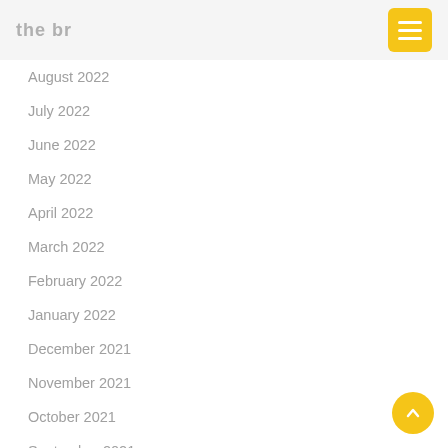the br
August 2022
July 2022
June 2022
May 2022
April 2022
March 2022
February 2022
January 2022
December 2021
November 2021
October 2021
September 2021
August 2021